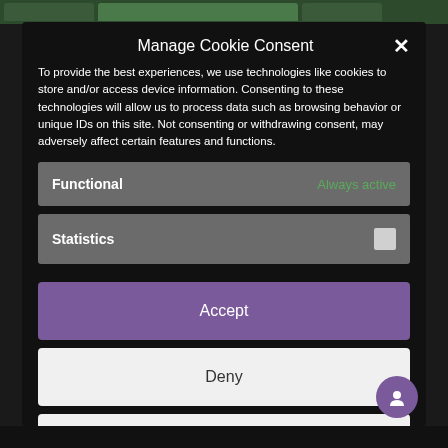Manage Cookie Consent
To provide the best experiences, we use technologies like cookies to store and/or access device information. Consenting to these technologies will allow us to process data such as browsing behavior or unique IDs on this site. Not consenting or withdrawing consent, may adversely affect certain features and functions.
Functional — Always active
Statistics
Accept
Deny
Save preferences